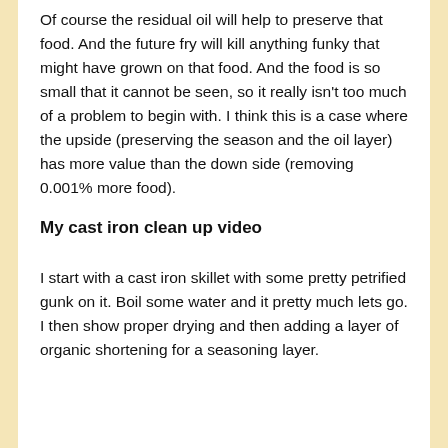Of course the residual oil will help to preserve that food. And the future fry will kill anything funky that might have grown on that food. And the food is so small that it cannot be seen, so it really isn't too much of a problem to begin with. I think this is a case where the upside (preserving the season and the oil layer) has more value than the down side (removing 0.001% more food).
My cast iron clean up video
I start with a cast iron skillet with some pretty petrified gunk on it. Boil some water and it pretty much lets go. I then show proper drying and then adding a layer of organic shortening for a seasoning layer.